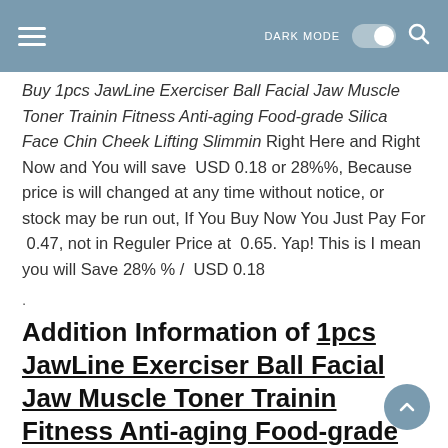DARK MODE [toggle] [search]
Buy 1pcs JawLine Exerciser Ball Facial Jaw Muscle Toner Trainin Fitness Anti-aging Food-grade Silica Face Chin Cheek Lifting Slimmin Right Here and Right Now and You will save  USD 0.18 or 28%%, Because price is will changed at any time without notice, or stock may be run out, If You Buy Now You Just Pay For  0.47, not in Reguler Price at  0.65. Yap! This is I mean you will Save 28% % /  USD 0.18
.
Addition Information of 1pcs JawLine Exerciser Ball Facial Jaw Muscle Toner Trainin Fitness Anti-aging Food-grade Silica Face Chin